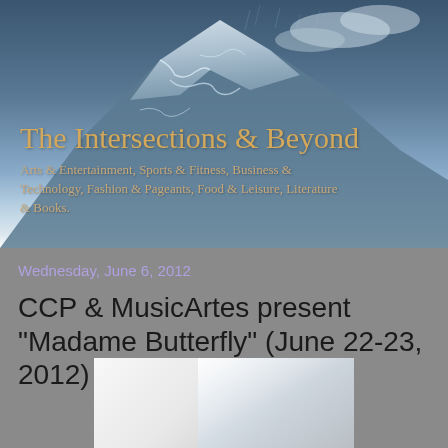[Figure (photo): Mountain landscape with stormy/snowy conditions, blue-grey tones, used as the header background image for a blog called 'The Intersections & Beyond']
The Intersections & Beyond
Arts & Entertainment, Sports & Fitness, Business & Technology, Fashion & Pageants, Food & Leisure, Literature & Books.
Wednesday, June 6, 2012
CCP & MusicArtes present "Madame Butterfly" (June 22-23, 2012)
[Figure (photo): Partially visible photo, appears to be a white/light colored image, possibly related to the Madame Butterfly opera performance]